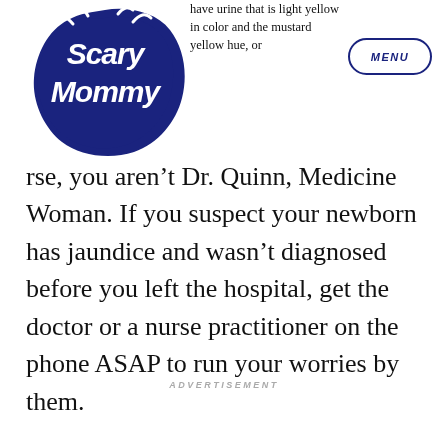[Figure (logo): Scary Mommy logo — dark navy blue hand-drawn style text in a rounded badge shape]
have urine that is light yellow in color and the mustard yellow hue, or MENU
rse, you aren't Dr. Quinn, Medicine Woman. If you suspect your newborn has jaundice and wasn't diagnosed before you left the hospital, get the doctor or a nurse practitioner on the phone ASAP to run your worries by them.
ADVERTISEMENT